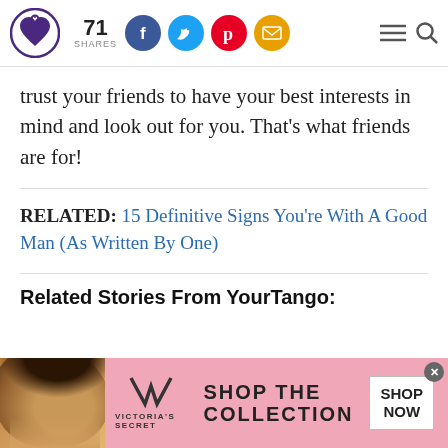71 SHARES [social icons: Facebook, Twitter, Pinterest, Email] [menu] [search]
trust your friends to have your best interests in mind and look out for you. That's what friends are for!
RELATED: 15 Definitive Signs You're With A Good Man (As Written By One)
Related Stories From YourTango:
[Figure (photo): Victoria's Secret advertisement banner with a woman's face, VS logo, 'SHOP THE COLLECTION' text, and 'SHOP NOW' button on a pink background]